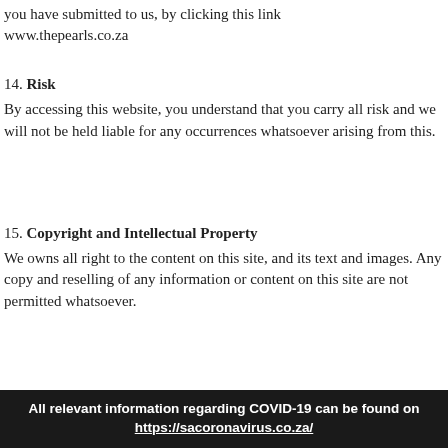you have submitted to us, by clicking this link
www.thepearls.co.za
14. Risk
By accessing this website, you understand that you carry all risk and we will not be held liable for any occurrences whatsoever arising from this.
15. Copyright and Intellectual Property
We owns all right to the content on this site, and its text and images. Any copy and reselling of any information or content on this site are not permitted whatsoever.
All relevant information regarding COVID-19 can be found on https://sacoronavirus.co.za/